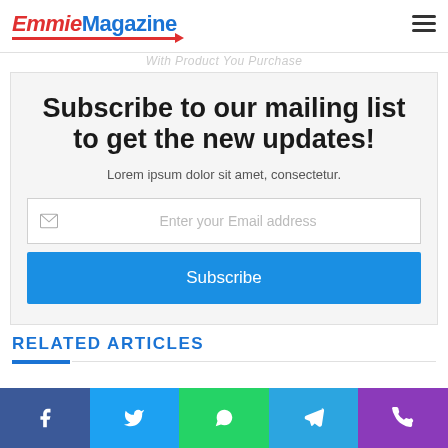Emmie Magazine
With Product You Purchase
Subscribe to our mailing list to get the new updates!
Lorem ipsum dolor sit amet, consectetur.
Enter your Email address
Subscribe
RELATED ARTICLES